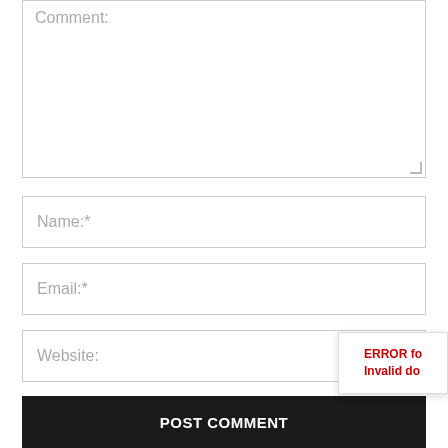[Figure (screenshot): Comment textarea field with placeholder text 'Comment:']
[Figure (screenshot): Name input field with placeholder 'Name:*']
[Figure (screenshot): Email input field with placeholder 'Email:*']
[Figure (screenshot): Website input field with placeholder 'Website:']
Save my name, email, and website in this browser for the next time I comment.
POST COMMENT
ERROR for Invalid do